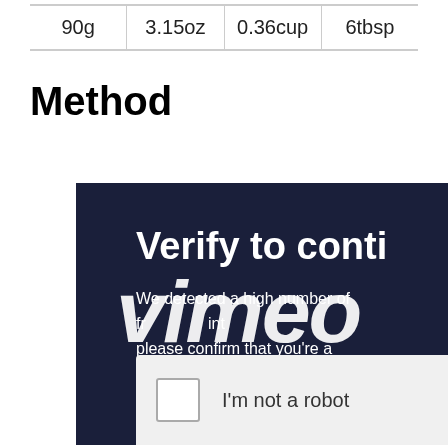| 90g | 3.15oz | 0.36cup | 6tbsp |
Method
[Figure (screenshot): Vimeo 'Verify to continue' anti-bot verification overlay screenshot on a dark navy background, showing the Vimeo logo watermark, text 'Verify to conti...' heading, body text 'We detected a high number of... from your computer... please confirm that you are a human (and not a spambot).', and a reCAPTCHA 'I'm not a robot' checkbox widget.]